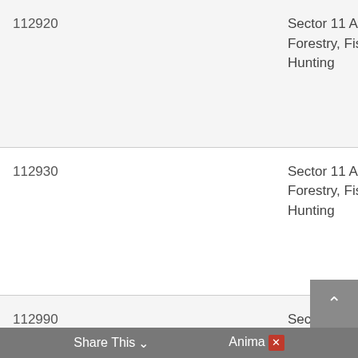| Code |  | Sector | Subsector |
| --- | --- | --- | --- |
| 112920 |  | Sector 11 Agriculture, Forestry, Fishing and Hunting | Subsector 112 Animal Production and Aquaculture |
| 112930 |  | Sector 11 Agriculture, Forestry, Fishing and Hunting | Subsector 112 Animal Production and Aquaculture |
| 112990 |  | Sector 11 Agriculture, Forestry, Fishing and Hunting | Subsector 112 Animal Production and Aquaculture |
Share This